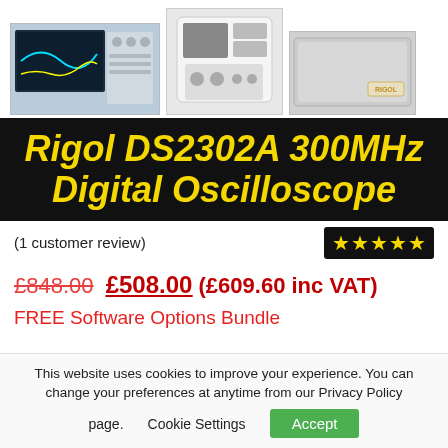[Figure (photo): Three product images of the Rigol DS2302A: oscilloscope front view, unit front/side panel, and carrying case]
Rigol DS2302A 300MHz Digital Oscilloscope
(1 customer review)
[Figure (other): 5-star rating displayed as yellow stars on black background]
£848.00 £508.00 (£609.60 inc VAT)
FREE Software Options Bundle
This website uses cookies to improve your experience. You can change your preferences at anytime from our Privacy Policy page.   Cookie Settings   Accept